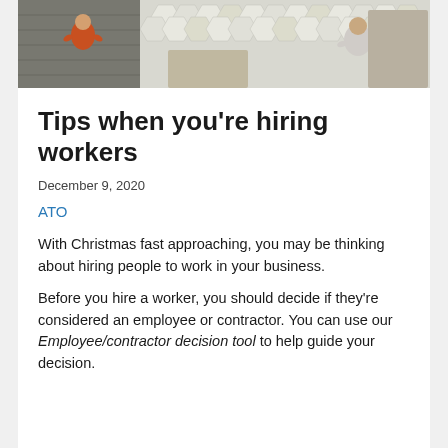[Figure (photo): Aerial view of people working in a workshop or craft studio, showing workers from above on a tiled floor.]
Tips when you're hiring workers
December 9, 2020
ATO
With Christmas fast approaching, you may be thinking about hiring people to work in your business.
Before you hire a worker, you should decide if they're considered an employee or contractor. You can use our Employee/contractor decision tool to help guide your decision.